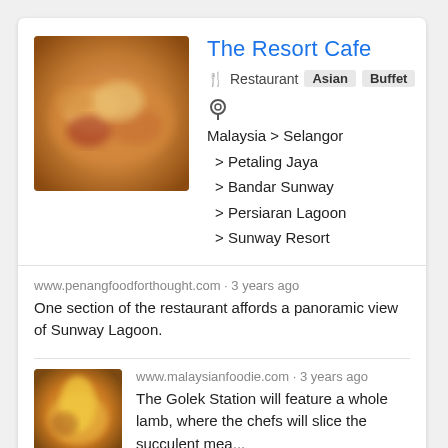[Figure (photo): Blurry close-up photo of food items, warm orange and red tones]
The Resort Cafe
🍴 Restaurant  Asian  Buffet
📍
Malaysia > Selangor
 > Petaling Jaya
 > Bandar Sunway
 > Persiaran Lagoon
 > Sunway Resort
www.penangfoodforthought.com · 3 years ago
One section of the restaurant affords a panoramic view of Sunway Lagoon.
[Figure (photo): Small thumbnail photo showing a glass of orange drink]
www.malaysianfoodie.com · 3 years ago
The Golek Station will feature a whole lamb, where the chefs will slice the succulent mea...